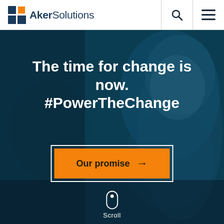[Figure (logo): Aker Solutions logo with orange/dark blue square icon and wordmark 'Aker Solutions']
The time for change is now.
#PowerTheChange
[Figure (illustration): Orange button with white border reading 'Our promise →']
Scroll